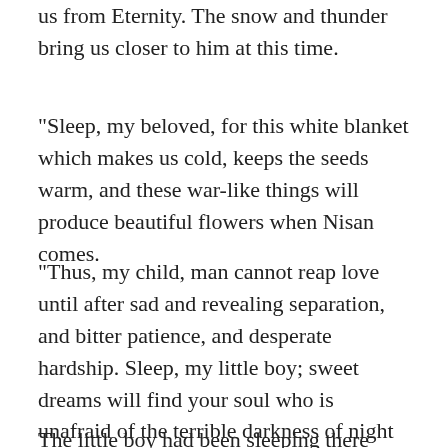us from Eternity. The snow and thunder bring us closer to him at this time.
"Sleep, my beloved, for this white blanket which makes us cold, keeps the seeds warm, and these war-like things will produce beautiful flowers when Nisan comes.
"Thus, my child, man cannot reap love until after sad and revealing separation, and bitter patience, and desperate hardship. Sleep, my little boy; sweet dreams will find your soul who is unafraid of the terrible darkness of night and the biting frost."
The little boy had been sleeping there with